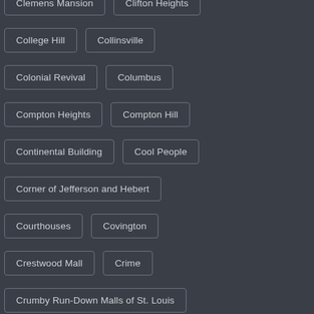Clemens Mansion
Clifton Heights
College Hill
Collinsville
Colonial Revival
Columbus
Compton Heights
Compton Hill
Continental Building
Cool People
Corner of Jefferson and Hebert
Courthouses
Covington
Crestwood Mall
Crime
Crumby Run-Down Malls of St. Louis
Cupples Station
Dayton
Delaware
Demolition
Department Stores
Deserted
Detroit
Dogtown